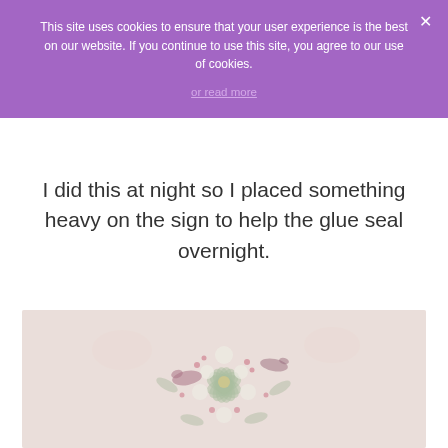This site uses cookies to ensure that your user experience is the best on our website. If you continue to use this site, you agree to our use of cookies.
or read more
I did this at night so I placed something heavy on the sign to help the glue seal overnight.
[Figure (photo): A faded floral decorative image showing birds and flowers arranged in a wreath-like pattern on a light pink/cream background]